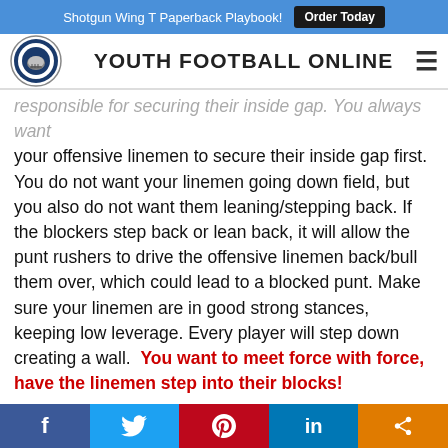Shotgun Wing T Paperback Playbook! Order Today
YOUTH FOOTBALL ONLINE
responsible for securing their inside gap. You always want your offensive linemen to secure their inside gap first. You do not want your linemen going down field, but you also do not want them leaning/stepping back. If the blockers step back or lean back, it will allow the punt rushers to drive the offensive linemen back/bull them over, which could lead to a blocked punt. Make sure your linemen are in good strong stances, keeping low leverage. Every player will step down creating a wall.  You want to meet force with force, have the linemen step into their blocks!
The blocking back is always lined up to the kicker's kicking foot side. He is responsible for plugging up any leakage in the interior of the line. The wing backs (3) & (4) will take
f  (Twitter)  p  in  (share)